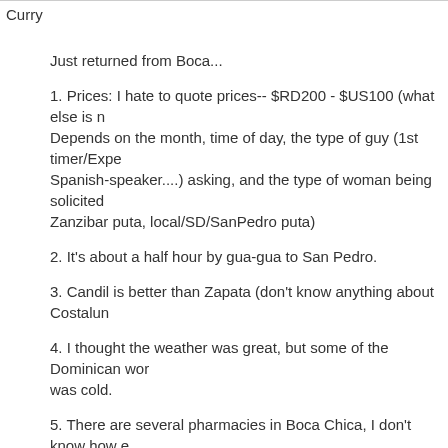Curry
Just returned from Boca...
1. Prices: I hate to quote prices-- $RD200 - $US100 (what else is n... Depends on the month, time of day, the type of guy (1st timer/Expe... Spanish-speaker....) asking, and the type of woman being solicited... Zanzibar puta, local/SD/SanPedro puta)
2. It's about a half hour by gua-gua to San Pedro.
3. Candil is better than Zapata (don't know anything about Costalun...
4. I thought the weather was great, but some of the Dominican wor... was cold.
5. There are several pharmacies in Boca Chica, I don't know how e... penicilin.
Below is a review I wrote about two of hotels you mentioned...
I spent 5 nights in Boca Chica in March 2004 and stayed at the La... Caucho (El Gaucho).
NOTE: Star(*) rating is not relative to hotels in the DR, but all hotel...
Hotel Zapata: **